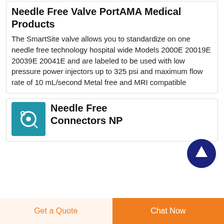Needle Free Valve PortAMA Medical Products
The SmartSite valve allows you to standardize on one needle free technology hospital wide Models 2000E 20019E 20039E 20041E and are labeled to be used with low pressure power injectors up to 325 psi and maximum flow rate of 10 mL/second Metal free and MRI compatible
[Figure (illustration): Blue circle with white up-arrow scroll-to-top button]
Needle Free Connectors NP
[Figure (photo): Blue square thumbnail image showing a needle free connector coiled tubing on blue background]
Get a Quote
Chat Now